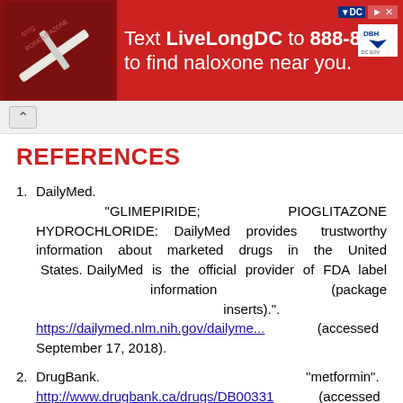[Figure (photo): Ad banner: red background with syringe/medication photo on left. Text: 'Text LiveLongDC to 888-811 to find naloxone near you.' DC and DBH logos on right.]
REFERENCES
1. DailyMed. "GLIMEPIRIDE; PIOGLITAZONE HYDROCHLORIDE: DailyMed provides trustworthy information about marketed drugs in the United States. DailyMed is the official provider of FDA label information (package inserts).". https://dailymed.nlm.nih.gov/dailyme... (accessed September 17, 2018).
2. DrugBank. "metformin". http://www.drugbank.ca/drugs/DB00331 (accessed September 17, 2018).
3. DrugBank. "glimepiride". http://www.drugbank.ca/drugs/DB00222 (accessed September 17, 2018).
REVIEWS